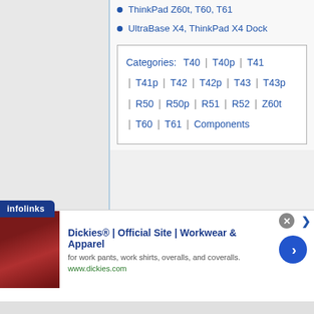ThinkPad Z60t, T60, T61
UltraBase X4, ThinkPad X4 Dock
Categories: T40 | T40p | T41 | T41p | T42 | T42p | T43 | T43p | R50 | R50p | R51 | R52 | Z60t | T60 | T61 | Components
[Figure (screenshot): Advertisement banner for Dickies Official Site - Workwear & Apparel, with infolinks tab and product image]